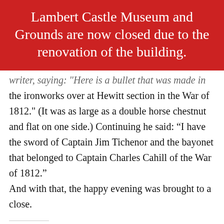Lambert Castle Museum and Grounds are now closed due to the renovation of the building.
writer, saying: "Here is a bullet that was made in the ironworks over at Hewitt section in the War of 1812." (It was as large as a double horse chestnut and flat on one side.) Continuing he said: “I have the sword of Captain Jim Tichenor and the bayonet that belonged to Captain Charles Cahill of the War of 1812.” And with that, the happy evening was brought to a close.